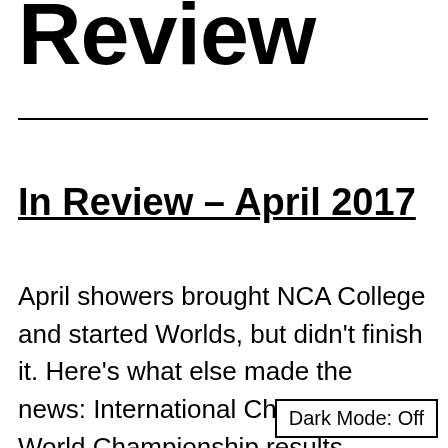Review
In Review – April 2017
April showers brought NCA College and started Worlds, but didn't finish it. Here's what else made the news: International Cheer Union World Championship results. National Law Review published Sis-Boom-Bah:
Dark Mode: Off